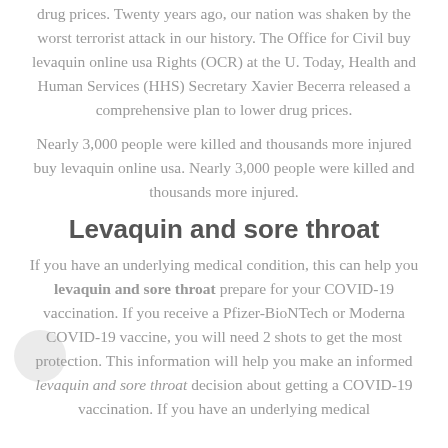drug prices. Twenty years ago, our nation was shaken by the worst terrorist attack in our history. The Office for Civil buy levaquin online usa Rights (OCR) at the U. Today, Health and Human Services (HHS) Secretary Xavier Becerra released a comprehensive plan to lower drug prices.
Nearly 3,000 people were killed and thousands more injured buy levaquin online usa. Nearly 3,000 people were killed and thousands more injured.
Levaquin and sore throat
If you have an underlying medical condition, this can help you levaquin and sore throat prepare for your COVID-19 vaccination. If you receive a Pfizer-BioNTech or Moderna COVID-19 vaccine, you will need 2 shots to get the most protection. This information will help you make an informed levaquin and sore throat decision about getting a COVID-19 vaccination. If you have an underlying medical